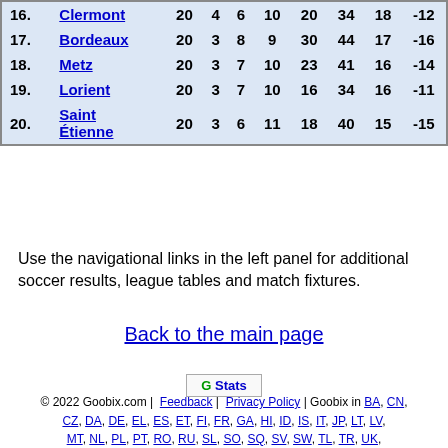| # | Team | P | W | D | L | GF | GA | Pts | GD |
| --- | --- | --- | --- | --- | --- | --- | --- | --- | --- |
| 16. | Clermont | 20 | 4 | 6 | 10 | 20 | 34 | 18 | -12 |
| 17. | Bordeaux | 20 | 3 | 8 | 9 | 30 | 44 | 17 | -16 |
| 18. | Metz | 20 | 3 | 7 | 10 | 23 | 41 | 16 | -14 |
| 19. | Lorient | 20 | 3 | 7 | 10 | 16 | 34 | 16 | -11 |
| 20. | Saint Étienne | 20 | 3 | 6 | 11 | 18 | 40 | 15 | -15 |
Use the navigational links in the left panel for additional soccer results, league tables and match fixtures.
Back to the main page
[Figure (logo): G Stats button/logo]
© 2022 Goobix.com | Feedback | Privacy Policy | Goobix in BA, CN, CZ, DA, DE, EL, ES, ET, FI, FR, GA, HI, ID, IS, IT, JP, LT, LV, MT, NL, PL, PT, RO, RU, SL, SO, SQ, SV, SW, TL, TR, UK, VI, ZU